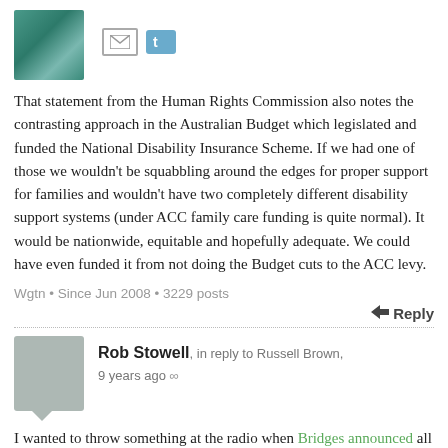[Figure (photo): User avatar showing an underwater or nature-themed teal/green image with social media icons (email envelope and Twitter bird) to the right]
That statement from the Human Rights Commission also notes the contrasting approach in the Australian Budget which legislated and funded the National Disability Insurance Scheme. If we had one of those we wouldn't be squabbling around the edges for proper support for families and wouldn't have two completely different disability support systems (under ACC family care funding is quite normal). It would be nationwide, equitable and hopefully adequate. We could have even funded it from not doing the Budget cuts to the ACC levy.
Wgtn • Since Jun 2008 • 3229 posts
Reply
[Figure (photo): Gray placeholder avatar with speech bubble tail for Rob Stowell]
Rob Stowell, in reply to Russell Brown, 9 years ago ∞
I wanted to throw something at the radio when Bridges announced all they were doing was to